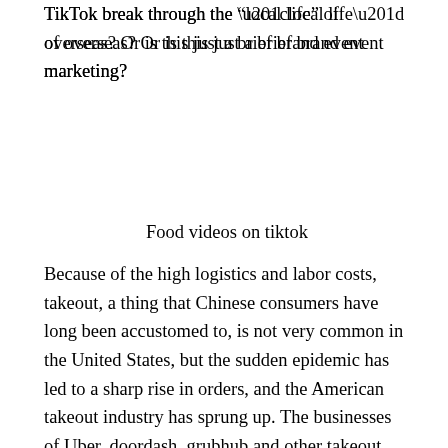TikTok break through the “local life” of overseas? Or is this just a brief brand event marketing?
Food videos on tiktok
Because of the high logistics and labor costs, takeout, a thing that Chinese consumers have long been accustomed to, is not very common in the United States, but the sudden epidemic has led to a sharp rise in orders, and the American takeout industry has sprung up. The businesses of Uber, doordash, grubhub and other takeout platforms have increased significantly. Many restaurants have closed the hall food and only set up takeout windows. Chain restaurants are the same. Applebee, an